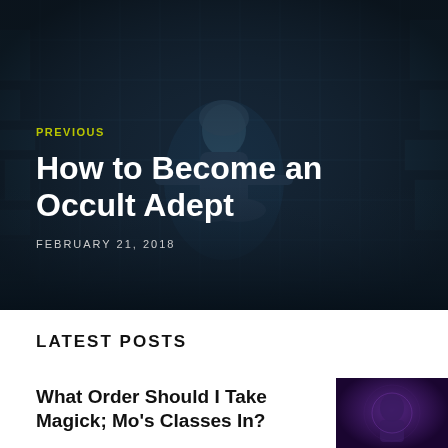[Figure (photo): Dark sci-fi themed hero image with a figure sitting in a meditative pose surrounded by mechanical/digital structures in blue-dark tones]
PREVIOUS
How to Become an Occult Adept
FEBRUARY 21, 2018
LATEST POSTS
What Order Should I Take Magick; Mo's Classes In?
[Figure (photo): Dark purple-toned thumbnail image of a figure in mystical/magical setting]